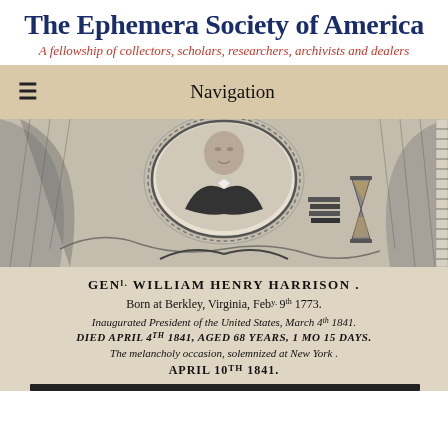The Ephemera Society of America
A fellowship of collectors, scholars, researchers, archivists and dealers
Navigation
[Figure (photo): Historical engraving/broadside featuring a portrait of Gen. William Henry Harrison in an oval medallion surrounded by decorative elements including books, an hourglass, and patriotic imagery. Below the portrait text reads: GENl. WILLIAM HENRY HARRISON. Born at Berkley, Virginia, Feby 9th 1773. Inaugurated President of the United States, March 4th 1841. DIED APRIL 4TH 1841, AGED 68 YEARS, 1 MO 15 DAYS. The melancholy occasion, solemnized at New York. APRIL 10TH 1841. A dark ruler/bar appears at the bottom.]